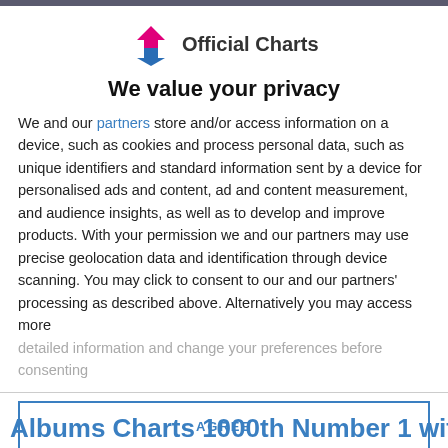[Figure (logo): Official Charts logo — pink house/arrow up, blue arrow down, and text 'Official Charts']
We value your privacy
We and our partners store and/or access information on a device, such as cookies and process personal data, such as unique identifiers and standard information sent by a device for personalised ads and content, ad and content measurement, and audience insights, as well as to develop and improve products. With your permission we and our partners may use precise geolocation data and identification through device scanning. You may click to consent to our and our partners' processing as described above. Alternatively you may access more detailed information and change your preferences before consenting
AGREE
MORE OPTIONS
Albums Charts 1000th Number 1 with